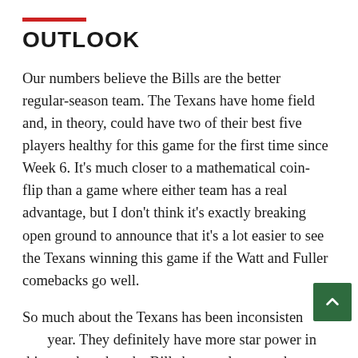OUTLOOK
Our numbers believe the Bills are the better regular-season team. The Texans have home field and, in theory, could have two of their best five players healthy for this game for the first time since Week 6. It's much closer to a mathematical coin-flip than a game where either team has a real advantage, but I don't think it's exactly breaking open ground to announce that it's a lot easier to see the Texans winning this game if the Watt and Fuller comebacks go well.
So much about the Texans has been inconsistent this year. They definitely have more star power in this matchup, but the Bills have only gotten better as the season goes along. Ultimately, neither result would surprise us much.